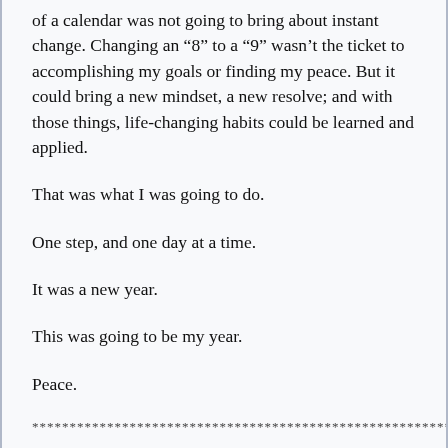of a calendar was not going to bring about instant change. Changing an “8” to a “9” wasn’t the ticket to accomplishing my goals or finding my peace. But it could bring a new mindset, a new resolve; and with those things, life-changing habits could be learned and applied.
That was what I was going to do.
One step, and one day at a time.
It was a new year.
This was going to be my year.
Peace.
* * * * * * * * * * * * * * * * * * * * * * * * * * * * * * * * * * * * * * * * * * * * * * * * * * * * * * *
What are your resolutions or your “word” for 2019? What